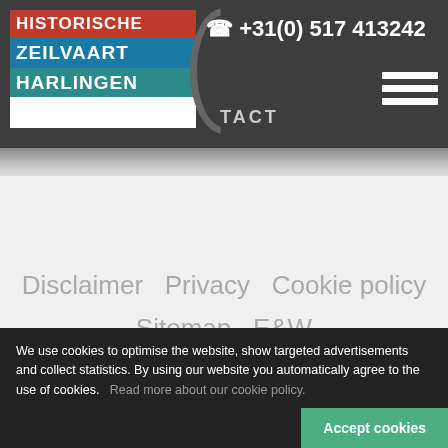[Figure (logo): Historische Zeilvaart Harlingen logo with red, blue, and teal colored text blocks on white background]
+31(0) 517 413242
TACT
Disclaimer   Privacy   Cookie policy   Sitemap   E&W
We use cookies to optimise the website, show targeted advertisements and collect statistics. By using our website you automatically agree to the use of cookies.   Read more about our cookie policy.
Accept cookies